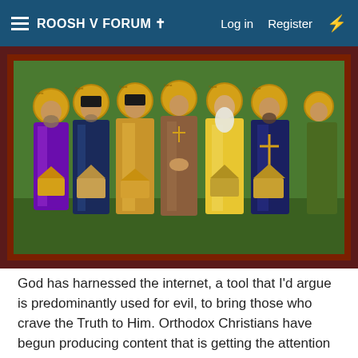ROOSH V FORUM ✝  Log in  Register
[Figure (illustration): Orthodox Christian icon painting showing six saints/bishops in ornate robes, with golden halos, holding church models and crosses, set against a green background with dark red border frame.]
God has harnessed the internet, a tool that I'd argue is predominantly used for evil, to bring those who crave the Truth to Him. Orthodox Christians have begun producing content that is getting the attention of the secular mob and those in other Churches. They are learning about Orthodoxy at a measured pace until God enlightens them to take the next step by buying a